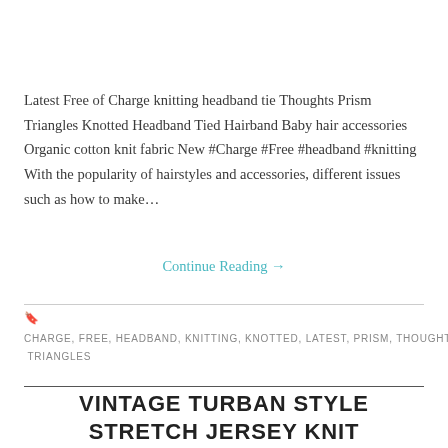Latest Free of Charge knitting headband tie Thoughts Prism Triangles Knotted Headband Tied Hairband Baby hair accessories Organic cotton knit fabric New #Charge #Free #headband #knitting With the popularity of hairstyles and accessories, different issues such as how to make…
Continue Reading →
CHARGE, FREE, HEADBAND, KNITTING, KNOTTED, LATEST, PRISM, THOUGHTS, TIE, TRIANGLES
VINTAGE TURBAN STYLE STRETCH JERSEY KNIT